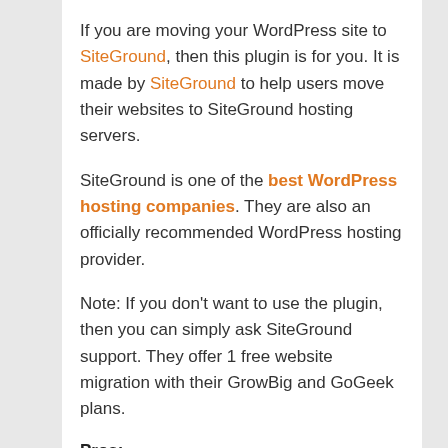If you are moving your WordPress site to SiteGround, then this plugin is for you. It is made by SiteGround to help users move their websites to SiteGround hosting servers.
SiteGround is one of the best WordPress hosting companies. They are also an officially recommended WordPress hosting provider.
Note: If you don't want to use the plugin, then you can simply ask SiteGround support. They offer 1 free website migration with their GrowBig and GoGeek plans.
Pros:
It works well because it is made for a specific